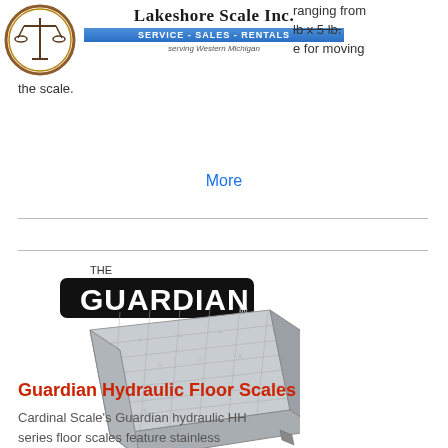Lakeshore Scale Inc. | SERVICE - SALES - RENTALS | serving Western Michigan
ranging from lb x 5 lb. e for moving the scale.
More
[Figure (logo): THE GUARDIAN logo — black rounded rectangle with bold white text]
[Figure (photo): Guardian hydraulic floor scale platform — stainless steel diamond-plate surface, square shape, low profile]
Guardian Hydraulic Floor Scales
Cardinal Scale's Guardian hydraulic HH series floor scales feature stainless